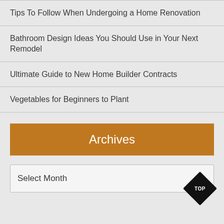Tips To Follow When Undergoing a Home Renovation
Bathroom Design Ideas You Should Use in Your Next Remodel
Ultimate Guide to New Home Builder Contracts
Vegetables for Beginners to Plant
Archives
Select Month